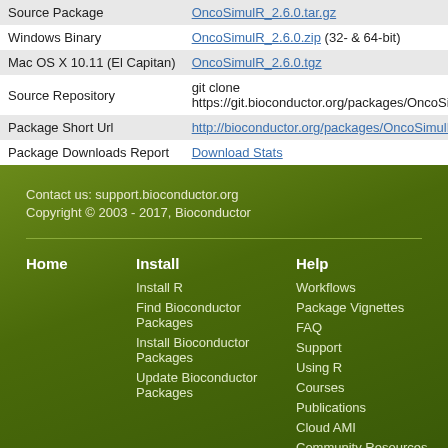|  |  |
| --- | --- |
| Source Package | OncoSimulR_2.6.0.tar.gz |
| Windows Binary | OncoSimulR_2.6.0.zip (32- & 64-bit) |
| Mac OS X 10.11 (El Capitan) | OncoSimulR_2.6.0.tgz |
| Source Repository | git clone https://git.bioconductor.org/packages/OncoSim… |
| Package Short Url | http://bioconductor.org/packages/OncoSimulR/ |
| Package Downloads Report | Download Stats |
Contact us: support.bioconductor.org
Copyright © 2003 - 2017, Bioconductor
Home
Install
Install R
Find Bioconductor Packages
Install Bioconductor Packages
Update Bioconductor Packages
Help
Workflows
Package Vignettes
FAQ
Support
Using R
Courses
Publications
Cloud AMI
Community Resources